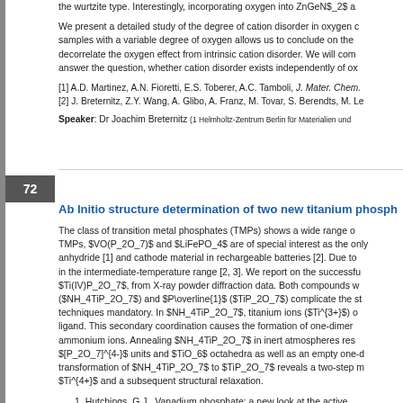the wurtzite type. Interestingly, incorporating oxygen into ZnGeN$_2$ a...
We present a detailed study of the degree of cation disorder in oxygen c... samples with a variable degree of oxygen allows us to conclude on the... decorrelate the oxygen effect from intrinsic cation disorder. We will com... answer the question, whether cation disorder exists independently of ox...
[1] A.D. Martinez, A.N. Fioretti, E.S. Toberer, A.C. Tamboli, J. Mater. Chem....
[2] J. Breternitz, Z.Y. Wang, A. Glibo, A. Franz, M. Tovar, S. Berendts, M. Le...
Speaker: Dr Joachim Breternitz (1 Helmholtz-Zentrum Berlin für Materialien und...
Ab Initio structure determination of two new titanium phosph...
The class of transition metal phosphates (TMPs) shows a wide range o... TMPs, $VO(P_2O_7)$ and $LiFePO_4$ are of special interest as the only... anhydride [1] and cathode material in rechargeable batteries [2]. Due to... in the intermediate-temperature range [2, 3]. We report on the successfu... $Ti(IV)P_2O_7$, from X-ray powder diffraction data. Both compounds w... ($NH_4TiP_2O_7$) and $P\overline{1}$ ($TiP_2O_7$) complicate the st... techniques mandatory. In $NH_4TiP_2O_7$, titanium ions ($Ti^{3+}$) o... ligand. This secondary coordination causes the formation of one-dimer... ammonium ions. Annealing $NH_4TiP_2O_7$ in inert atmospheres res... $[P_2O_7]^{4-}$ units and $TiO_6$ octahedra as well as an empty one-d... transformation of $NH_4TiP_2O_7$ to $TiP_2O_7$ reveals a two-step m... $Ti^{4+}$ and a subsequent structural relaxation.
1. Hutchings, G.J., Vanadium phosphate: a new look at the active...